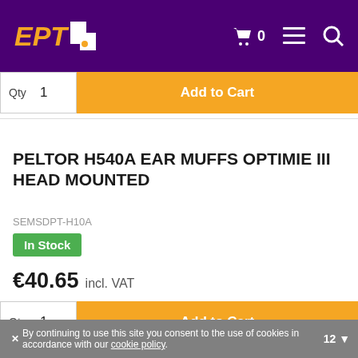EPT — e-commerce header with cart, menu, search icons
Qty 1   Add to Cart
PELTOR H540A EAR MUFFS OPTIMIE III HEAD MOUNTED
SEMSDPT-H10A
In Stock
€40.65 incl. VAT
Qty 1   Add to Cart
✕ By continuing to use this site you consent to the use of cookies in accordance with our cookie policy   12 ▼